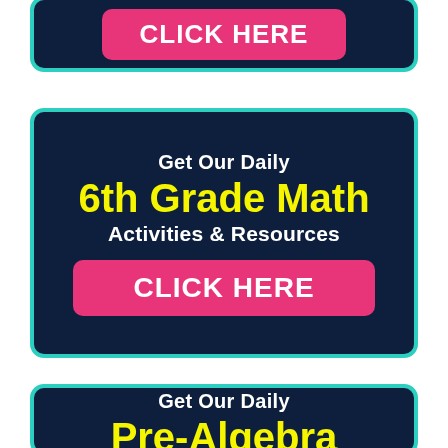[Figure (other): Top dark navy banner with teal border containing a pink 'CLICK HERE' button in white bold uppercase text]
[Figure (other): Middle dark navy banner with teal border containing 'Get Our Daily' in white, '6th Grade Math' in yellow bold, 'Activities & Resources' in white bold, and a pink 'CLICK HERE' button]
[Figure (other): Bottom dark navy banner with teal border containing 'Get Our Daily' in white and 'Pre-Algebra' in yellow bold]